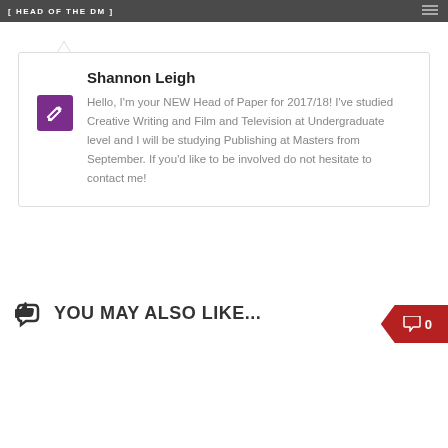HEAD OF PAPER
Shannon Leigh
Hello, I'm your NEW Head of Paper for 2017/18! I've studied Creative Writing and Film and Television at Undergraduate level and I will be studying Publishing at Masters from September. If you'd like to be involved do not hesitate to contact me!
YOU MAY ALSO LIKE...
0